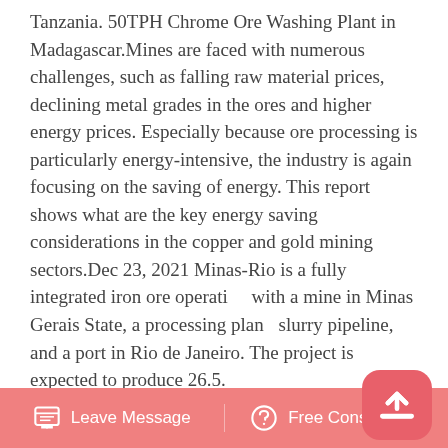Tanzania. 50TPH Chrome Ore Washing Plant in Madagascar.Mines are faced with numerous challenges, such as falling raw material prices, declining metal grades in the ores and higher energy prices. Especially because ore processing is particularly energy-intensive, the industry is again focusing on the saving of energy. This report shows what are the key energy saving considerations in the copper and gold mining sectors.Dec 23, 2021 Minas-Rio is a fully integrated iron ore operation with a mine in Minas Gerais State, a processing plant, slurry pipeline, and a port in Rio de Janeiro. The project is expected to produce 26.5.
Copper Mining And Processing From Mine To Copper Plate
Steps include mining, concentration, roasting, smelting,
[Figure (other): Pink floating action button with upward arrow icon (back-to-top button)]
Leave Message   Free Consultation